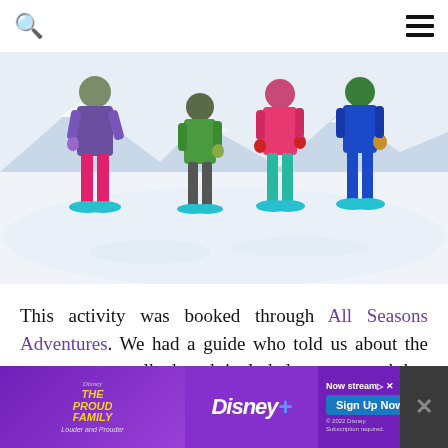Search icon and hamburger menu
[Figure (photo): Four children in colorful winter clothing and snowshoes standing in snow]
This activity was booked through All Seasons Adventures. We had a guide who told us about the area as we walked and included smores and hot chocolate as part of our adventure. This was my the kids favorite part.
[Figure (photo): Partial view of a snowy outdoor scene at the bottom of the page]
[Figure (screenshot): Disney+ advertisement banner for The Proud Family: Louder and Prouder with Sign Up Now button]